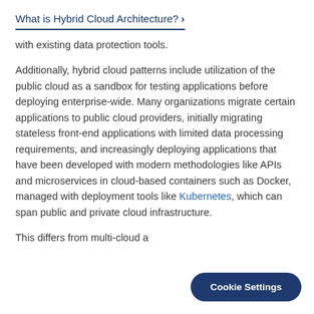What is Hybrid Cloud Architecture? ›
with existing data protection tools.
Additionally, hybrid cloud patterns include utilization of the public cloud as a sandbox for testing applications before deploying enterprise-wide. Many organizations migrate certain applications to public cloud providers, initially migrating stateless front-end applications with limited data processing requirements, and increasingly deploying applications that have been developed with modern methodologies like APIs and microservices in cloud-based containers such as Docker, managed with deployment tools like Kubernetes, which can span public and private cloud infrastructure.
This differs from multi-cloud a
Cookie Settings